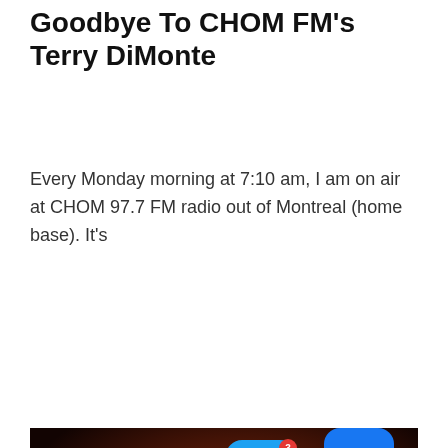Goodbye To CHOM FM's Terry DiMonte
Every Monday morning at 7:10 am, I am on air at CHOM 97.7 FM radio out of Montreal (home base). It's
Continue reading »
[Figure (photo): Close-up photo of a smartphone screen showing social media app icons including Instagram, Twitter, Facebook, and Clubhouse apps. The phone is set against a dark background.]